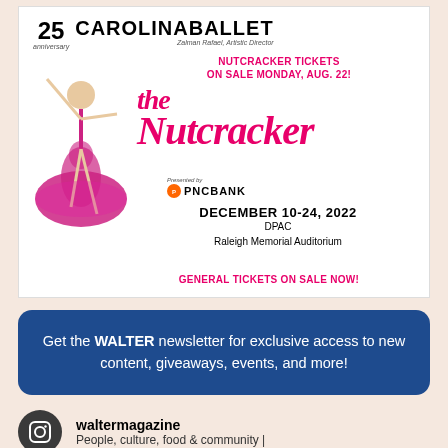[Figure (illustration): Carolina Ballet advertisement for The Nutcracker. Features a ballerina in a pink tutu, 25th anniversary logo, Carolina Ballet branding, Presented by PNC Bank logo, text about Nutcracker Tickets on sale Monday Aug 22, dates December 10-24 2022, venue DPAC Raleigh Memorial Auditorium, and General Tickets on Sale Now.]
Get the WALTER newsletter for exclusive access to new content, giveaways, events, and more!
waltermagazine
People, culture, food & community |